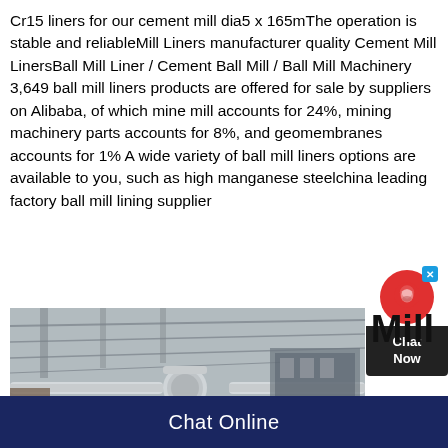Cr15 liners for our cement mill dia5 x 165mThe operation is stable and reliableMill Liners manufacturer quality Cement Mill LinersBall Mill Liner / Cement Ball Mill / Ball Mill Machinery 3,649 ball mill liners products are offered for sale by suppliers on Alibaba, of which mine mill accounts for 24%, mining machinery parts accounts for 8%, and geomembranes accounts for 1% A wide variety of ball mill liners options are available to you, such as high manganese steelchina leading factory ball mill lining supplier
[Figure (photo): Industrial photo showing interior of a mill facility with pipes, ductwork, and metal ceiling structure. The word 'Mill' appears in large text overlaid on the right side.]
Chat Online